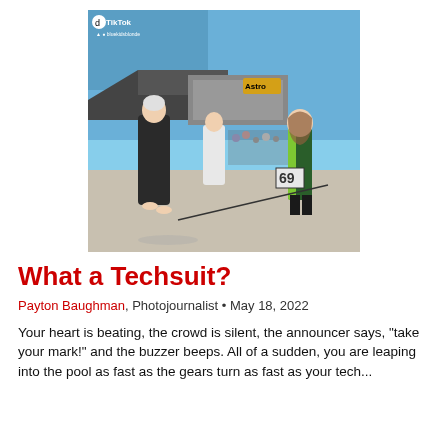[Figure (photo): TikTok screenshot of two swimmers outdoors near a pool complex. One swimmer on the left wears a dark robe/towel and swim cap, the other on the right wears a green and black swimsuit. A referee in white stands in the background. A number '69' marker is visible. The TikTok watermark and username are visible in the upper left corner.]
What a Techsuit?
Payton Baughman, Photojournalist • May 18, 2022
Your heart is beating, the crowd is silent, the announcer says, "take your mark!" and the buzzer beeps. All of a sudden, you are leaping into the pool as fast as the gears turn as fast as your tech...